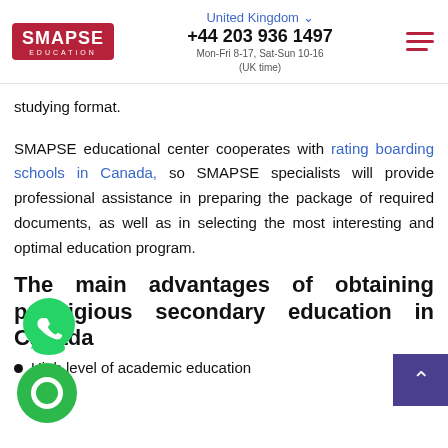SMAPSE EDUCATION | United Kingdom | +44 203 936 1497 | Mon-Fri 8-17, Sat-Sun 10-16 (UK time)
studying format.
SMAPSE educational center cooperates with rating boarding schools in Canada, so SMAPSE specialists will provide professional assistance in preparing the package of required documents, as well as in selecting the most interesting and optimal education program.
The main advantages of obtaining prestigious secondary education in Canada
High level of academic education